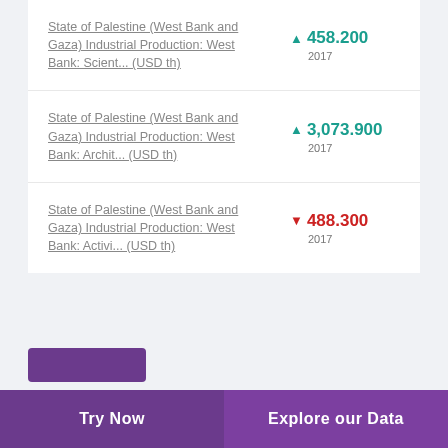State of Palestine (West Bank and Gaza) Industrial Production: West Bank: Scient... (USD th)
▲ 458.200 2017
State of Palestine (West Bank and Gaza) Industrial Production: West Bank: Archit... (USD th)
▲ 3,073.900 2017
State of Palestine (West Bank and Gaza) Industrial Production: West Bank: Activi... (USD th)
▼ 488.300 2017
Try Now   Explore our Data